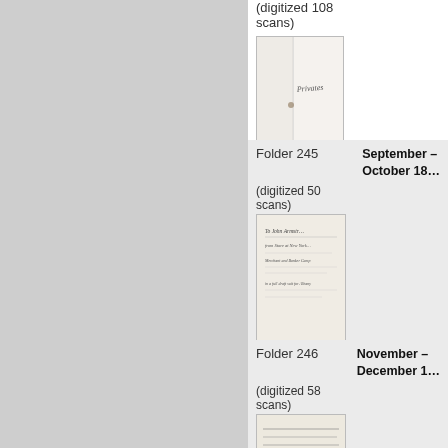(digitized 108 scans)
[Figure (photo): Thumbnail image of a digitized historical document, showing a folded letter or manuscript page]
Folder 245
September – October 18…
(digitized 50 scans)
[Figure (photo): Thumbnail of a digitized historical document addressed to John Armstrong]
Folder 246
November – December 1…
(digitized 58 scans)
[Figure (photo): Thumbnail of a digitized historical handwritten letter or manuscript]